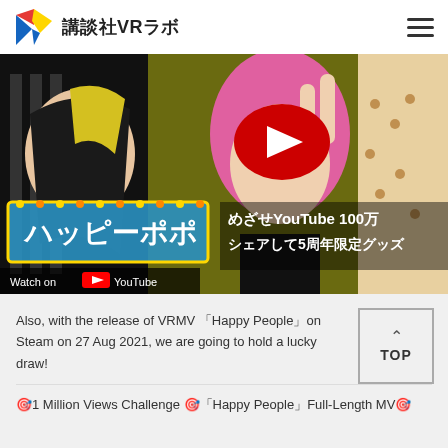講談社VRラボ
[Figure (screenshot): YouTube video thumbnail showing anime-style characters with Japanese text overlay. Video title area shows ハッピーポポ and text めざせYouTube 100万 シェアして5周年限定グッズ. Watch on YouTube button visible at bottom left.]
Also, with the release of VRMV 「Happy People」on Steam on 27 Aug 2021, we are going to hold a lucky draw!
🎯1 Million Views Challenge 🎯「Happy People」Full-Length MV🎯